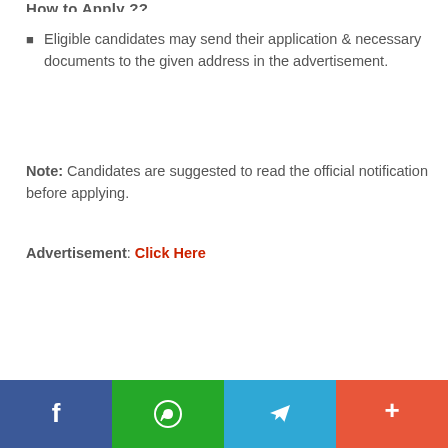How to Apply ??
Eligible candidates may send their application & necessary documents to the given address in the advertisement.
Note: Candidates are suggested to read the official notification before applying.
Advertisement: Click Here
[Figure (other): Social media sharing bar with Facebook, WhatsApp, Telegram, and More buttons]